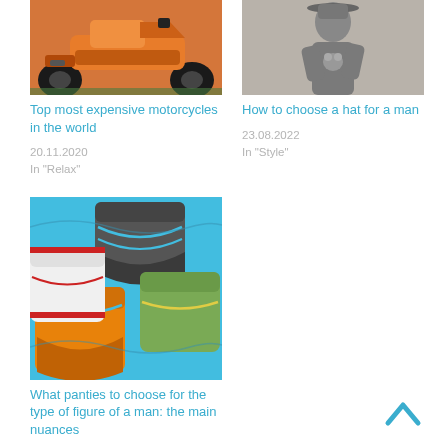[Figure (photo): Orange motorcycle photo]
Top most expensive motorcycles in the world
20.11.2020
In "Relax"
[Figure (photo): Man holding koala photo]
How to choose a hat for a man
23.08.2022
In "Style"
[Figure (photo): Colorful men's underwear photo]
What panties to choose for the type of figure of a man: the main nuances
10.04.2022
In "Style"